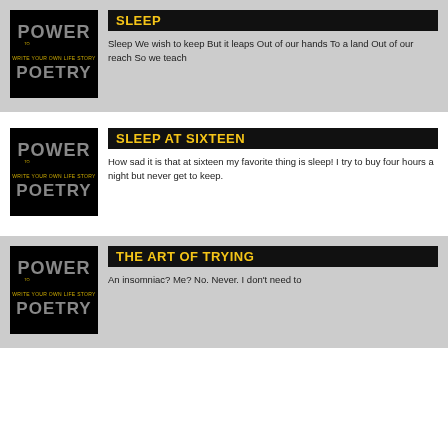[Figure (illustration): Power Poetry book cover logo - black background with stylized text POWER and POETRY in grey letters, 'WRITE YOUR OWN LIFE STORY' in yellow]
SLEEP
Sleep We wish to keep But it leaps Out of our hands To a land Out of our reach So we teach
[Figure (illustration): Power Poetry book cover logo - black background with stylized text POWER and POETRY in grey letters, 'WRITE YOUR OWN LIFE STORY' in yellow]
SLEEP AT SIXTEEN
How sad it is that at sixteen my favorite thing is sleep! I try to buy four hours a night but never get to keep.
[Figure (illustration): Power Poetry book cover logo - black background with stylized text POWER and POETRY in grey letters, 'WRITE YOUR OWN LIFE STORY' in yellow]
THE ART OF TRYING
An insomniac? Me? No. Never. I don't need to